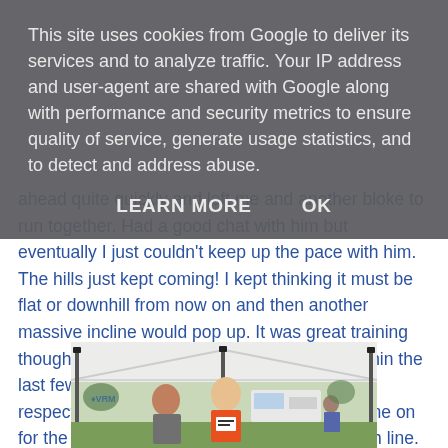This site uses cookies from Google to deliver its services and to analyze traffic. Your IP address and user-agent are shared with Google along with performance and security metrics to ensure quality of service, generate usage statistics, and to detect and address abuse.
LEARN MORE   OK
ahead quite quickly and left me and another bloke to run together. Had a good chat with him but eventually I just couldn't keep up the pace with him. The hills just kept coming! I kept thinking it must be flat or downhill from now on and then another massive incline would pop up. It was great training though. Another two runners took over me within the last few miles but I managed to hold on for a respectable 6th place. I had my dad cheering me on for the final straight and my mum and the finish line.
[Figure (photo): A man in an orange running vest with race number, being interviewed or congratulated by a woman near a white event tent, outdoors on grass.]